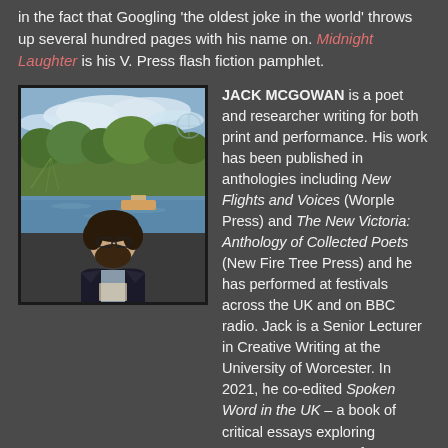in the fact that Googling 'the oldest joke in the world' throws up several hundred pages with his name on. Midnight Laughter is his V. Press flash fiction pamphlet.
[Figure (photo): Headshot of Jack McGowan, a bearded man with glasses wearing a dark blazer, standing near a river with trees and boats in the background.]
JACK MCGOWAN is a poet and researcher writing for both print and performance. His work has been published in anthologies including New Flights and Voices (Worple Press) and The New Victoria: Anthology of Collected Poets (New Fire Tree Press) and he has performed at festivals across the UK and on BBC radio. Jack is a Senior Lecturer in Creative Writing at the University of Worcester. In 2021, he co-edited Spoken Word in the UK – a book of critical essays exploring contemporary UK performance poetry. His forthcoming V. Press chapbook, Powerless Rangers, is inspired by nineties nostalgia.